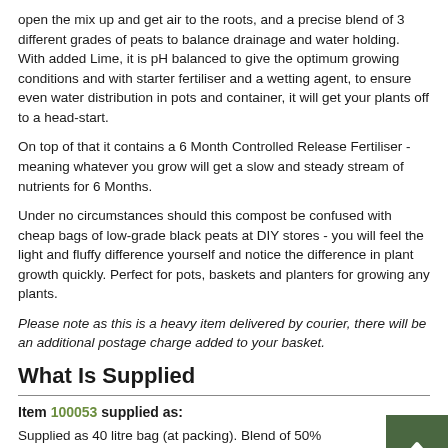open the mix up and get air to the roots, and a precise blend of 3 different grades of peats to balance drainage and water holding. With added Lime, it is pH balanced to give the optimum growing conditions and with starter fertiliser and a wetting agent, to ensure even water distribution in pots and container, it will get your plants off to a head-start.
On top of that it contains a 6 Month Controlled Release Fertiliser - meaning whatever you grow will get a slow and steady stream of nutrients for 6 Months.
Under no circumstances should this compost be confused with cheap bags of low-grade black peats at DIY stores - you will feel the light and fluffy difference yourself and notice the difference in plant growth quickly. Perfect for pots, baskets and planters for growing any plants.
Please note as this is a heavy item delivered by courier, there will be an additional postage charge added to your basket.
What Is Supplied
Item 100053 supplied as:
Supplied as 40 litre bag (at packing). Blend of 50% composted wood fibre, and 3 grades of white and black peats, Lime to balance pH, plus starter